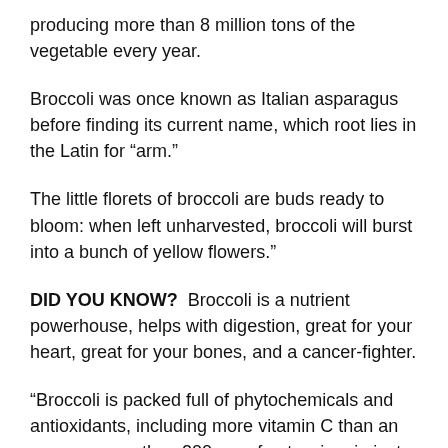producing more than 8 million tons of the vegetable every year.
Broccoli was once known as Italian asparagus before finding its current name, which root lies in the Latin for “arm.”
The little florets of broccoli are buds ready to bloom: when left unharvested, broccoli will burst into a bunch of yellow flowers."
DID YOU KNOW?  Broccoli is a nutrient powerhouse, helps with digestion, great for your heart, great for your bones, and a cancer-fighter.
“Broccoli is packed full of phytochemicals and antioxidants, including more vitamin C than an orange, more than 200 mg of potassium in just a half-cup serving, an unusually strong combination of vitamin A